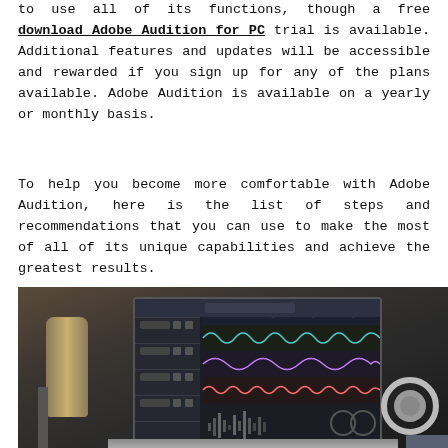to use all of its functions, though a free download Adobe Audition for PC trial is available. Additional features and updates will be accessible and rewarded if you sign up for any of the plans available. Adobe Audition is available on a yearly or monthly basis.
To help you become more comfortable with Adobe Audition, here is the list of steps and recommendations that you can use to make the most of all of its unique capabilities and achieve the greatest results.
[Figure (photo): A laptop showing Adobe Audition audio editing software with colorful waveforms on screen, a microphone stand on the left, and headphones on the right, on a dark desk.]